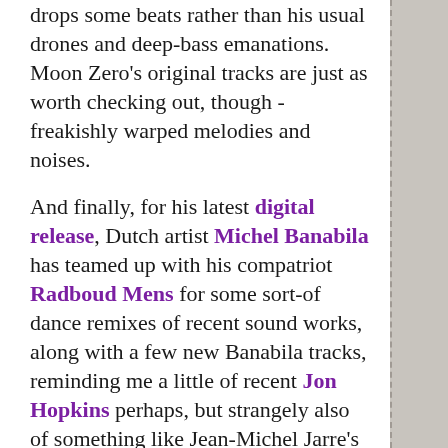drops some beats rather than his usual drones and deep-bass emanations. Moon Zero's original tracks are just as worth checking out, though - freakishly warped melodies and noises.

And finally, for his latest digital release, Dutch artist Michel Banabila has teamed up with his compatriot Radboud Mens for some sort-of dance remixes of recent sound works, along with a few new Banabila tracks, reminding me a little of recent Jon Hopkins perhaps, but strangely also of something like Jean-Michel Jarre's